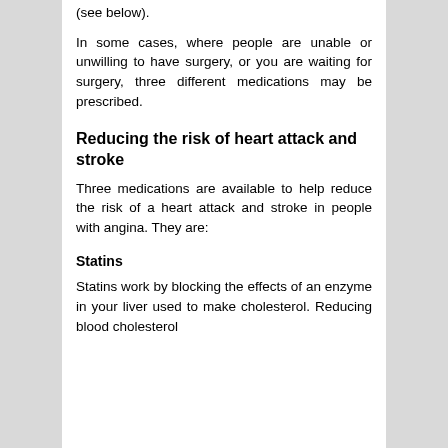(see below).
In some cases, where people are unable or unwilling to have surgery, or you are waiting for surgery, three different medications may be prescribed.
Reducing the risk of heart attack and stroke
Three medications are available to help reduce the risk of a heart attack and stroke in people with angina. They are:
Statins
Statins work by blocking the effects of an enzyme in your liver used to make cholesterol. Reducing blood cholesterol